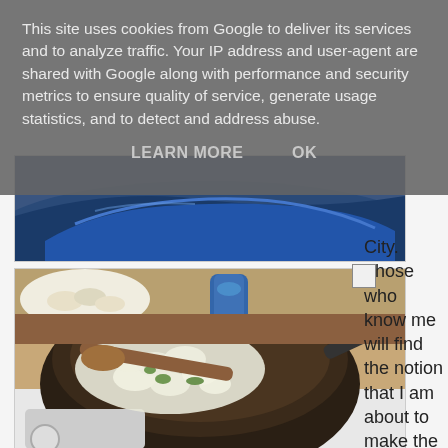This site uses cookies from Google to deliver its services and to analyze traffic. Your IP address and user-agent are shared with Google along with performance and security metrics to ensure quality of service, generate usage statistics, and to detect and address abuse.
LEARN MORE   OK
[Figure (photo): Partial view of a blue car, cropped at bottom]
[Figure (photo): Cooking photo: chopped onions and green onions being sautéed in a dark wok/pan on a white stove, with a wooden spoon. Other dishes visible in background.]
City. Those who know me will find the notion that I am about to make the journey by bus an amusing